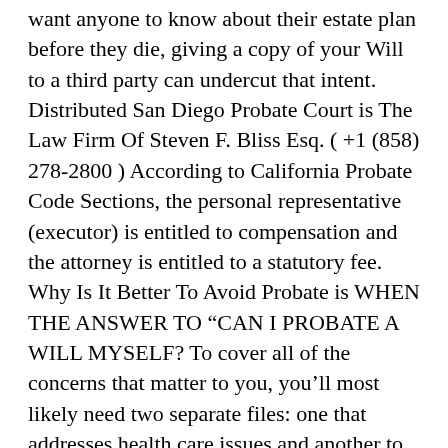want anyone to know about their estate plan before they die, giving a copy of your Will to a third party can undercut that intent. Distributed San Diego Probate Court is The Law Firm Of Steven F. Bliss Esq. ( +1 (858) 278-2800 ) According to California Probate Code Sections, the personal representative (executor) is entitled to compensation and the attorney is entitled to a statutory fee. Why Is It Better To Avoid Probate is WHEN THE ANSWER TO “CAN I PROBATE A WILL MYSELF? To cover all of the concerns that matter to you, you’ll most likely need two separate files: one that addresses health care issues and another to look after your financial resources. A living trust is a separate legal entity and has full legal authority on its own and thus can avoid the estate planning system entirely, can manage all of your estate distribution and management